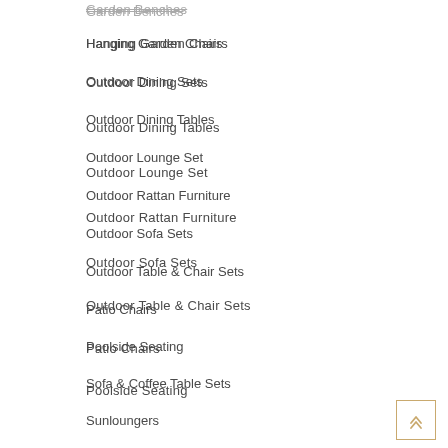Garden Benches
Hanging Garden Chairs
Outdoor Dining Sets
Outdoor Dining Tables
Outdoor Lounge Set
Outdoor Rattan Furniture
Outdoor Sofa Sets
Outdoor Table & Chair Sets
Patio Chairs
Poolside Seating
Sofa & Coffee Table Sets
Sunloungers